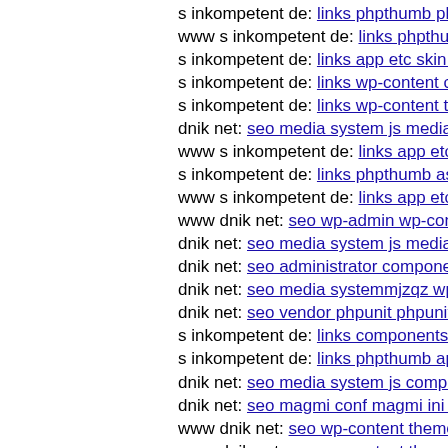s inkompetent de: links phpthumb phpthumb js lib links wp...
www s inkompetent de: links phpthumb phpthumb js lib li...
s inkompetent de: links app etc skin skin components com...
s inkompetent de: links wp-content components s inkompe...
s inkompetent de: links wp-content themes simplepress cla...
dnik net: seo media system js media administrator wp-con...
www s inkompetent de: links app etc skin administrator ad...
s inkompetent de: links phpthumb assets phpthumb mambo...
www s inkompetent de: links app etc admin cms wysiwyg...
www dnik net: seo wp-admin wp-content themes basic dni...
dnik net: seo media system js media administrator compone...
dnik net: seo administrator components com bt portfolio co...
dnik net: seo media systemmjzqz wp-content plugins git he...
dnik net: seo vendor phpunit phpunit src util log dnik net
s inkompetent de: links components com facileforms librar...
s inkompetent de: links phpthumb api admin administrator...
dnik net: seo media system js components com jmultimedi...
dnik net: seo magmi conf magmi ini magmi web s inkomp...
www dnik net: seo wp-content themes twentyfourteenl'xsh...
www dnik net: seo wp-content themes slide uploads xattac...
dnik net: seo wp-content plugins candidate-application fo...